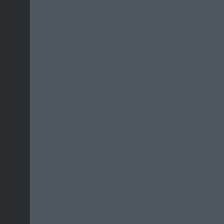[Figure (screenshot): Dark-themed forum post area background (gray-blue box), upper portion mostly empty]
Catgirl comic :3
« Last Edit: 17 Oct 2013, 05:39 by kyomi »
Pages: 1 ... 17 18 [19] 20 21 ... 97   Go Up
Jeph Jacques's comics discussion forums » Fun Stuff » CHATTER » Umm, what??
SMF 2.0.19 | SM